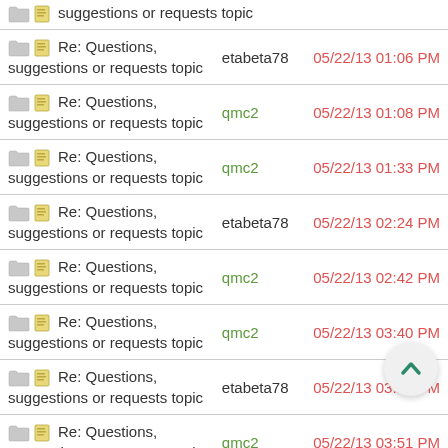Re: Questions, suggestions or requests topic | etabeta78 | 05/22/13 01:06 PM
Re: Questions, suggestions or requests topic | qmc2 | 05/22/13 01:08 PM
Re: Questions, suggestions or requests topic | qmc2 | 05/22/13 01:33 PM
Re: Questions, suggestions or requests topic | etabeta78 | 05/22/13 02:24 PM
Re: Questions, suggestions or requests topic | qmc2 | 05/22/13 02:42 PM
Re: Questions, suggestions or requests topic | qmc2 | 05/22/13 03:40 PM
Re: Questions, suggestions or requests topic | etabeta78 | 05/22/13 03:51 PM
Re: Questions, suggestions or requests topic | qmc2 | 05/22/13 03:51 PM
Re: Questions, suggestions or requests topic | Sunbeam | 05/22/13 06:07 PM